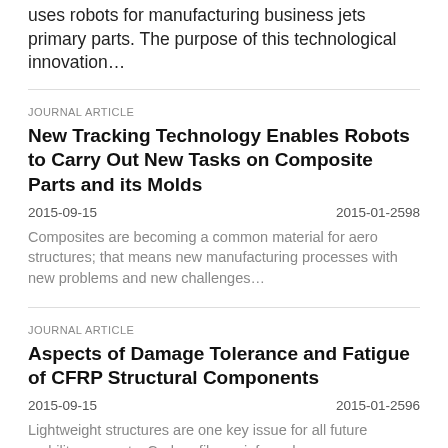uses robots for manufacturing business jets primary parts. The purpose of this technological innovation…
JOURNAL ARTICLE
New Tracking Technology Enables Robots to Carry Out New Tasks on Composite Parts and its Molds
2015-09-15    2015-01-2598
Composites are becoming a common material for aero structures; that means new manufacturing processes with new problems and new challenges…
JOURNAL ARTICLE
Aspects of Damage Tolerance and Fatigue of CFRP Structural Components
2015-09-15    2015-01-2596
Lightweight structures are one key issue for all future mobility concepts. Carbon fibre reinforced